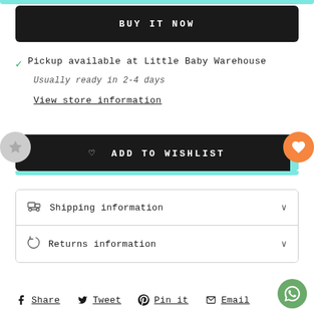BUY IT NOW
✓ Pickup available at Little Baby Warehouse
Usually ready in 2-4 days
View store information
♡ ADD TO WISHLIST
Shipping information
Returns information
Share  Tweet  Pin it  Email